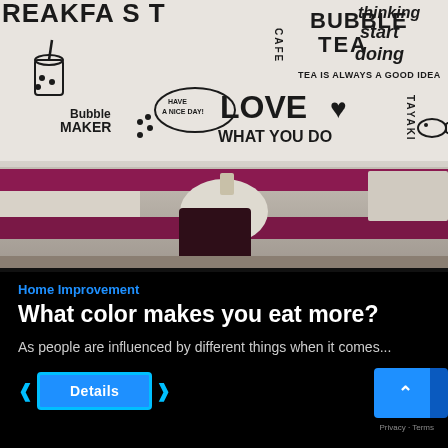[Figure (photo): Interior of a bubble tea / cafe restaurant. The upper portion shows a white wall decorated with black illustrated text and drawings including 'BREAKFAST', 'CAFE', 'BUBBLE TEA', 'thinking start doing', 'TEA IS ALWAYS A GOOD IDEA', 'Bubble MAKER', 'LOVE WHAT YOU DO', 'MAKER', 'TAYAKI', and various food/drink illustrations. The lower portion shows seating area with a magenta/purple bench, a round light-colored table in the center, a rectangular table on the left, and a dark chair in the foreground.]
Home Improvement
What color makes you eat more?
As people are influenced by different things when it comes...